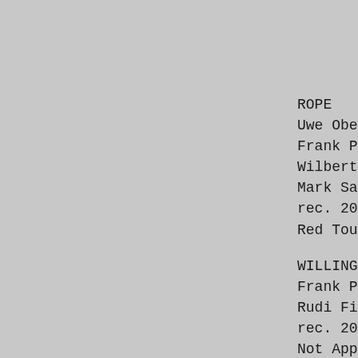ROPE
Uwe Ober
Frank Pa
Wilbert
Mark San
rec. 201
Red Touc
WILLING
Frank Pa
Rudi Fis
rec. 201
Not Appl